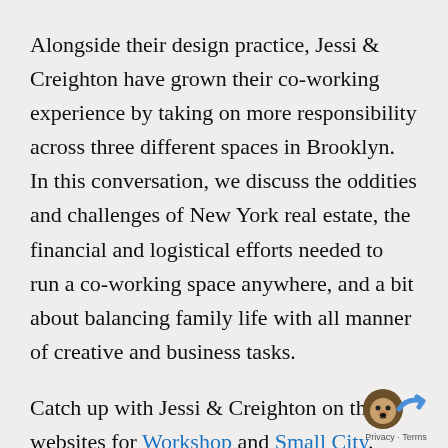Alongside their design practice, Jessi & Creighton have grown their co-working experience by taking on more responsibility across three different spaces in Brooklyn. In this conversation, we discuss the oddities and challenges of New York real estate, the financial and logistical efforts needed to run a co-working space anywhere, and a bit about balancing family life with all manner of creative and business tasks.
Catch up with Jessi & Creighton on their websites for Workshop and Small City.